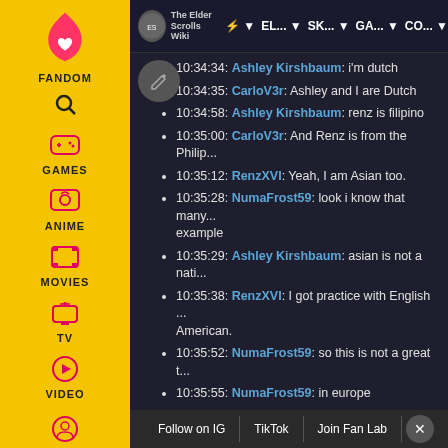[Figure (screenshot): Fandom sidebar navigation with yellow background showing FANDOM, GAMES, ANIME, MOVIES, TV, VIDEO icons]
[Figure (screenshot): The Elder Scrolls Wiki top navigation bar with nav items: PAC-MAN icon, EL..., SK..., GA..., CO...]
10:34:34: Ashley Kirshbaum: i'm dutch
10:34:35: CarloV3r: Ashley and I are Dutch
10:34:58: Ashley Kirshbaum: renz is filipino
10:35:00: CarloV3r: And Renz is from the Philip...
10:35:12: RenzXVI: Yeah, I am Asian too.
10:35:28: NumaFrost59: look i know that many... example
10:35:29: Ashley Kirshbaum: asian is not a nati...
10:35:38: RenzXVI: I got practice with English ... American.
10:35:52: NumaFrost59: so this is not a great t...
10:35:55: NumaFrost59: in europe
10:35:56: RenzXVI: I just mean I am Asian like N...
10:36:20: RenzXVI: Well, I assume he is Asian, b...
10:37:27: CarloV3r: It's not a great thing that P...
10...
Follow on IG | TikTok | Join Fan Lab | X